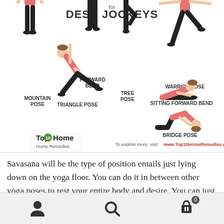[Figure (infographic): Yoga poses infographic titled 'for DESK JOCKEYS' showing 7 yoga poses with illustrated figures: Mountain Pose, Forward Bend, Tree Pose, Warrior Pose, Triangle Pose, Sitting Forward Bend, Bridge Pose. Bottom has Top10 Home Remedies logo and website URL.]
Savasana will be the type of position entails just lying down on the yoga floor. You can do it in between other yoga poses to rest your entire body and desire. You can just use it to cool down after an exercise. Simply because why is it's recommended to people practicing yoga in their